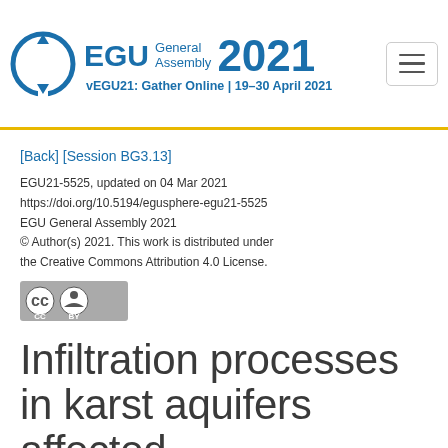EGU General Assembly 2021 | vEGU21: Gather Online | 19–30 April 2021
[Back] [Session BG3.13]
EGU21-5525, updated on 04 Mar 2021
https://doi.org/10.5194/egusphere-egu21-5525
EGU General Assembly 2021
© Author(s) 2021. This work is distributed under the Creative Commons Attribution 4.0 License.
[Figure (logo): Creative Commons CC BY license badge]
Infiltration processes in karst aquifers affected